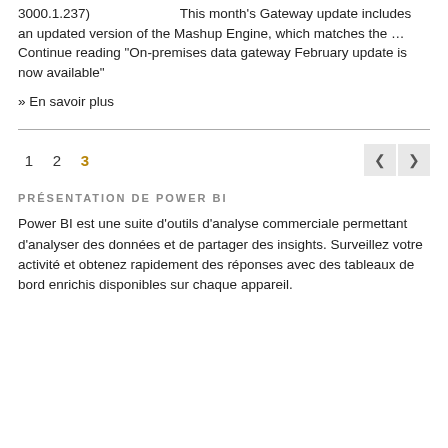3000.1.237) This month's Gateway update includes an updated version of the Mashup Engine, which matches the … Continue reading “On-premises data gateway February update is now available”
» En savoir plus
1  2  3
PRÉSENTATION DE POWER BI
Power BI est une suite d’outils d’analyse commerciale permettant d’analyser des données et de partager des insights. Surveillez votre activité et obtenez rapidement des réponses avec des tableaux de bord enrichis disponibles sur chaque appareil.